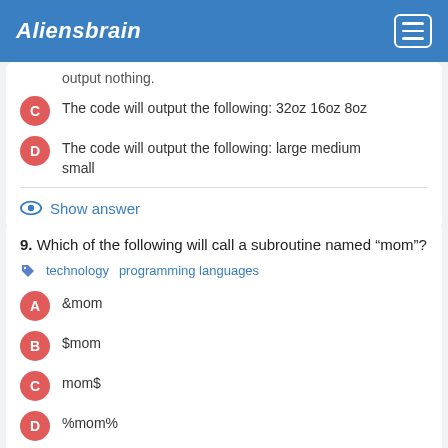Aliensbrain
C — The code will output the following: 32oz 16oz 8oz
D — The code will output the following: large medium small
Show answer
9. Which of the following will call a subroutine named "mom"?
technology   programming languages
A — &mom
B — $mom
C — mom$
D — %mom%